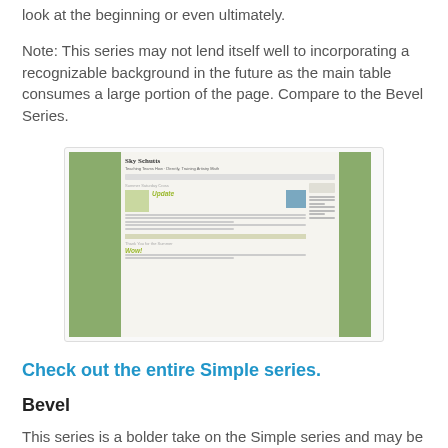look at the beginning or even ultimately.
Note: This series may not lend itself well to incorporating a recognizable background in the future as the main table consumes a large portion of the page. Compare to the Bevel Series.
[Figure (screenshot): Screenshot of a blog called 'Sky Schutts' with a green sidebar/column design, showing blog posts including 'Update' and 'Wow!' entries with images.]
Check out the entire Simple series.
Bevel
This series is a bolder take on the Simple series and may be